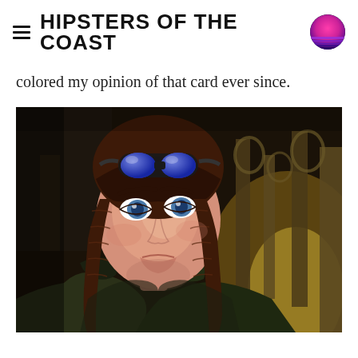HIPSTERS OF THE COAST
colored my opinion of that card ever since.
[Figure (illustration): Fantasy illustration of a young woman with braided brown hair and blue goggles on her head, wearing a dark jacket, set against an architectural background with arches and warm glowing light.]